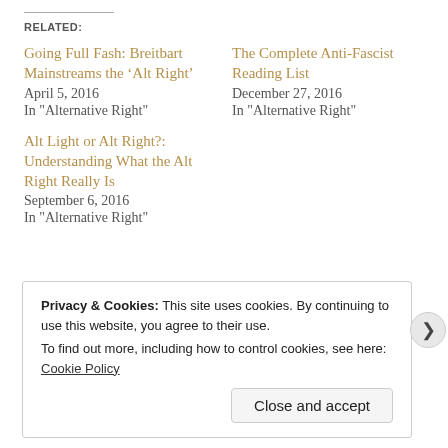RELATED:
Going Full Fash: Breitbart Mainstreams the ‘Alt Right’
April 5, 2016
In "Alternative Right"
The Complete Anti-Fascist Reading List
December 27, 2016
In "Alternative Right"
Alt Light or Alt Right?: Understanding What the Alt Right Really Is
September 6, 2016
In "Alternative Right"
Privacy & Cookies: This site uses cookies. By continuing to use this website, you agree to their use.
To find out more, including how to control cookies, see here: Cookie Policy